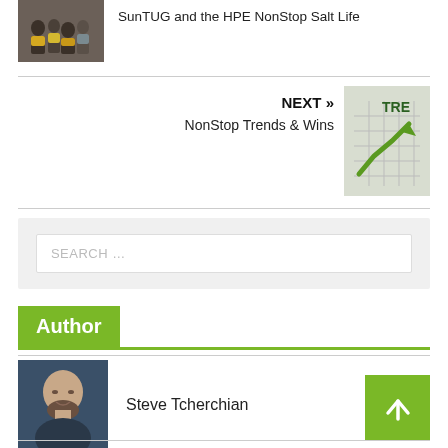[Figure (photo): Group photo thumbnail for previous article about SunTUG and HPE NonStop Salt Life]
SunTUG and the HPE NonStop Salt Life
NEXT »
NonStop Trends & Wins
[Figure (photo): Thumbnail image for NonStop Trends & Wins article showing a trend arrow on a calendar]
SEARCH …
Author
[Figure (photo): Author photo of Steve Tcherchian, a bald man with beard wearing dark clothing]
Steve Tcherchian